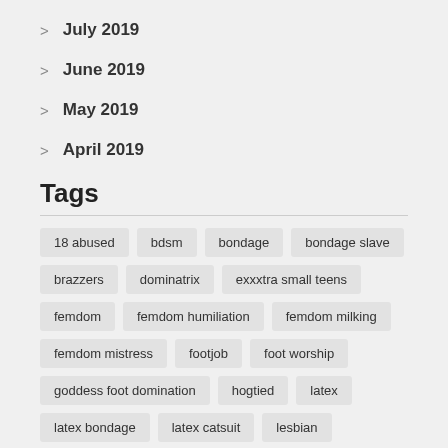July 2019
June 2019
May 2019
April 2019
Tags
18 abused, bdsm, bondage, bondage slave, brazzers, dominatrix, exxxtra small teens, femdom, femdom humiliation, femdom milking, femdom mistress, footjob, foot worship, goddess foot domination, hogtied, latex, latex bondage, latex catsuit, lesbian, lesbian bondage, lesbian slave, milf